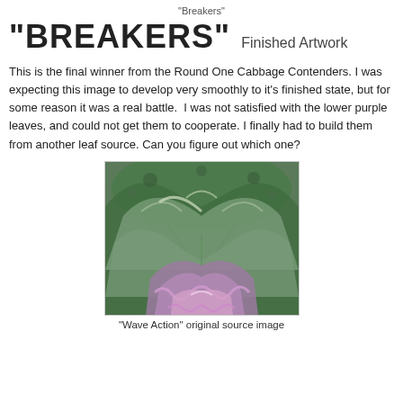"Breakers"
"BREAKERS"  Finished Artwork
This is the final winner from the Round One Cabbage Contenders. I was expecting this image to develop very smoothly to it's finished state, but for some reason it was a real battle.  I was not satisfied with the lower purple leaves, and could not get them to cooperate. I finally had to build them from another leaf source. Can you figure out which one?
[Figure (photo): Close-up photograph of an ornamental cabbage plant showing ruffled green outer leaves and purple/pink inner leaves at the center, used as source image for artwork.]
"Wave Action" original source image